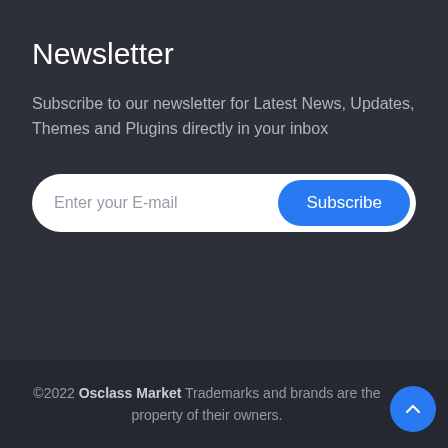Newsletter
Subscribe to our newsletter for Latest News, Updates, Themes and Plugins directly in your inbox
[Figure (screenshot): Email subscription form with a white rounded input field showing placeholder text 'Enter your E-mail' and a blue rounded 'Subscribe' button on the right]
©2022 Osclass Market Trademarks and brands are the property of their owners.